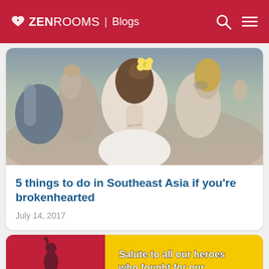ZEN ROOMS | Blogs
[Figure (photo): Back view of a woman with a yellow flower in her hair at an outdoor festival crowd]
5 things to do in Southeast Asia if you're brokenhearted
July 14, 2017
[Figure (photo): Promotional image with red and yellow background, statue silhouette on left, text 'Salute to all our heroes who fought for our']